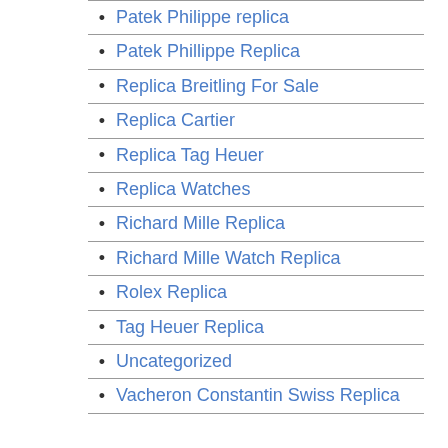Patek Philippe replica
Patek Phillippe Replica
Replica Breitling For Sale
Replica Cartier
Replica Tag Heuer
Replica Watches
Richard Mille Replica
Richard Mille Watch Replica
Rolex Replica
Tag Heuer Replica
Uncategorized
Vacheron Constantin Swiss Replica